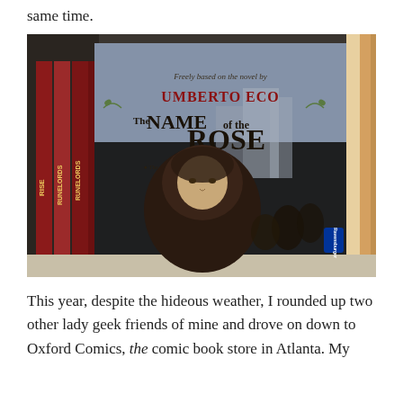same time.
[Figure (photo): Photo of a bookshelf showing a board game box titled 'The Name of the Rose' freely based on the novel by Umberto Eco, published by Ravensburger, with an illustration of a hooded monk figure on the cover. Other books including 'Rise of the Runelords' are visible on the shelf beside it.]
This year, despite the hideous weather, I rounded up two other lady geek friends of mine and drove on down to Oxford Comics, the comic book store in Atlanta. My